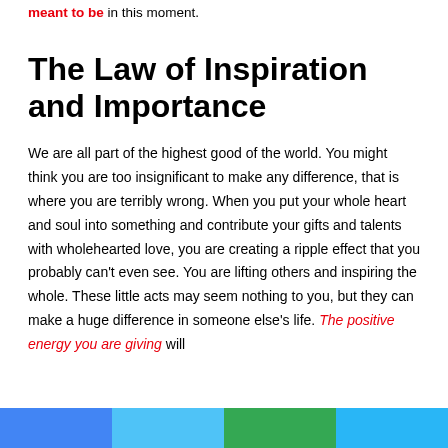meant to be in this moment.
The Law of Inspiration and Importance
We are all part of the highest good of the world. You might think you are too insignificant to make any difference, that is where you are terribly wrong. When you put your whole heart and soul into something and contribute your gifts and talents with wholehearted love, you are creating a ripple effect that you probably can't even see. You are lifting others and inspiring the whole. These little acts may seem nothing to you, but they can make a huge difference in someone else's life. The positive energy you are giving will